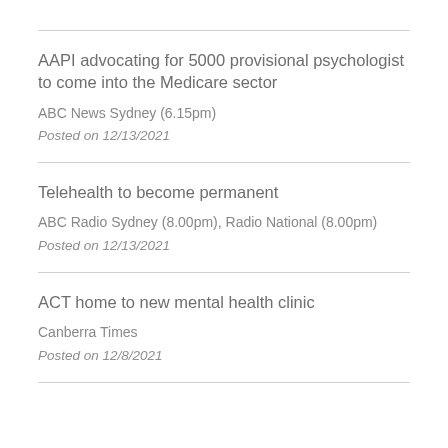AAPI advocating for 5000 provisional psychologist to come into the Medicare sector
ABC News Sydney (6.15pm)
Posted on 12/13/2021
Telehealth to become permanent
ABC Radio Sydney (8.00pm), Radio National (8.00pm)
Posted on 12/13/2021
ACT home to new mental health clinic
Canberra Times
Posted on 12/8/2021